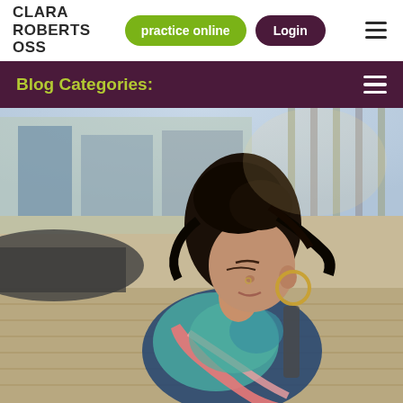CLARA ROBERTS OSS
practice online
Login
Blog Categories:
[Figure (photo): Young woman with dark curly hair in a bun, wearing a colorful patterned scarf and gold hoop earrings, looking downward, photographed outdoors in natural light with blurred architectural background]